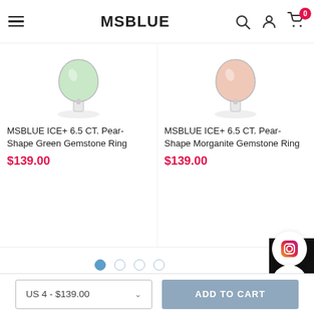MSBLUE
[Figure (photo): Product image of MSBLUE ICE+ 6.5 CT. Pear-Shape Green Gemstone Ring on white background]
MSBLUE ICE+ 6.5 CT. Pear-Shape Green Gemstone Ring
$139.00
[Figure (photo): Product image of MSBLUE ICE+ 6.5 CT. Pear-Shape Morganite Gemstone Ring on white background]
MSBLUE ICE+ 6.5 CT. Pear-Shape Morganite Gemstone Ring
$139.00
[Figure (other): Carousel pagination dots — 4 dots, first one filled/active]
[Figure (other): Instagram social media button icon]
[Figure (other): Facebook Messenger chat button icon]
US 4 - $139.00
ADD TO CART